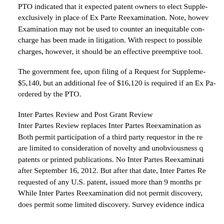PTO indicated that it expected patent owners to elect Supplemental Examination exclusively in place of Ex Parte Reexamination. Note, however, that Supplemental Examination may not be used to counter an inequitable conduct charge if the charge has been made in litigation. With respect to possible future inequitable conduct charges, however, it should be an effective preemptive tool.
The government fee, upon filing of a Request for Supplemental Examination, is $5,140, but an additional fee of $16,120 is required if an Ex Parte Reexamination is ordered by the PTO.
Inter Partes Review and Post Grant Review
Inter Partes Review replaces Inter Partes Reexamination as of September 16, 2012. Both permit participation of a third party requestor in the review proceeding, and are limited to consideration of novelty and unobviousness questions based on patents or printed publications. No Inter Partes Reexamination may be requested after September 16, 2012. But after that date, Inter Partes Review may be requested of any U.S. patent, issued more than 9 months prior to the request. While Inter Partes Reexamination did not permit discovery, Inter Partes Review does permit some limited discovery. Survey evidence indica